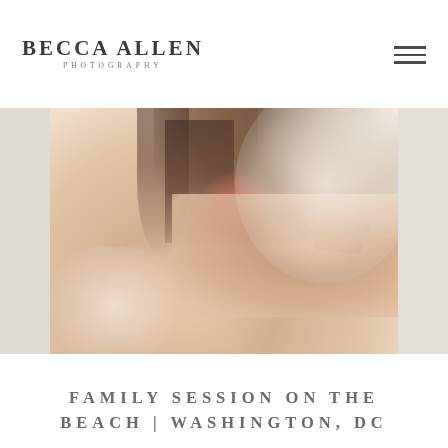BECCA ALLEN PHOTOGRAPHY
[Figure (photo): Close-up photograph of the back of a woman's neck and head, with hair pulled up, hand resting on her neck. Soft, warm, creamy tones with bokeh background.]
FAMILY SESSION ON THE BEACH | WASHINGTON, DC